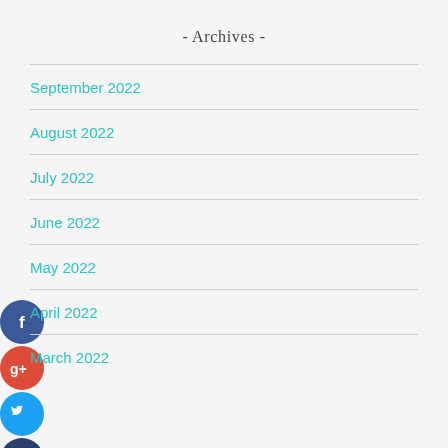- Archives -
September 2022
August 2022
July 2022
June 2022
May 2022
April 2022
March 2022
[Figure (infographic): Social media sharing icons: Facebook (blue circle with f), Google+ (red circle with g+), Twitter (light blue circle with bird), Add/Plus (dark blue circle with +)]